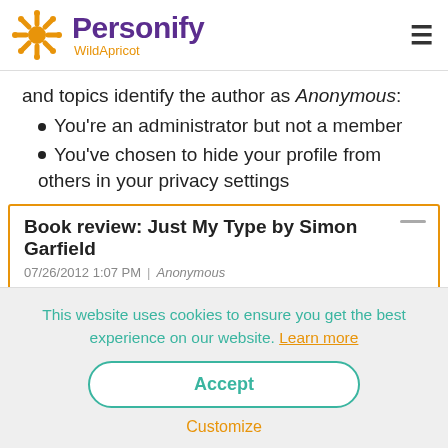Personify WildApricot
and topics identify the author as Anonymous:
You're an administrator but not a member
You've chosen to hide your profile from others in your privacy settings
Book review: Just My Type by Simon Garfield
07/26/2012 1:07 PM | Anonymous
In 2009, they changed its font, in order to create uniformity between to make...
This website uses cookies to ensure you get the best experience on our website. Learn more
Accept
Customize